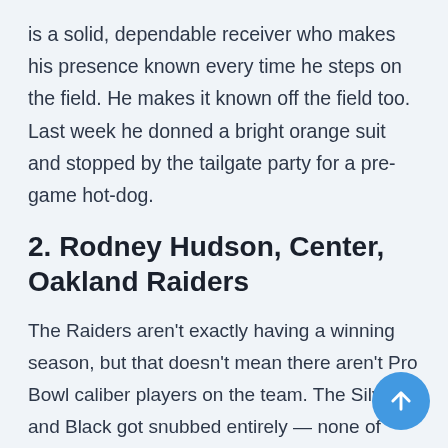is a solid, dependable receiver who makes his presence known every time he steps on the field. He makes it known off the field too. Last week he donned a bright orange suit and stopped by the tailgate party for a pre-game hot-dog.
2. Rodney Hudson, Center, Oakland Raiders
The Raiders aren't exactly having a winning season, but that doesn't mean there aren't Pro Bowl caliber players on the team. The Silver and Black got snubbed entirely — none of their players earned a spot on the roster. Technically Hudson is an alternate, but that isn't good enough. The center is the only Raider to play